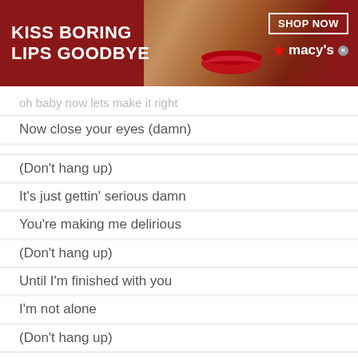[Figure (screenshot): Macy's advertisement banner: dark red background with woman's face, red lips, text 'KISS BORING LIPS GOODBYE', 'SHOP NOW' button, Macy's star logo]
oh baby now lets make it right
Now close your eyes (damn)
(Don't hang up)
It's just gettin' serious damn
You're making me delirious
(Don't hang up)
Until I'm finished with you
I'm not alone
(Don't hang up)
I am not alone
[Figure (screenshot): SmartPak advertisement banner: horse/rider image, '50% Off Two Months of ColiCare', 'ColiCare Eligible Supplements CODE: COLICARE10', 'Shop Now' button in blue]